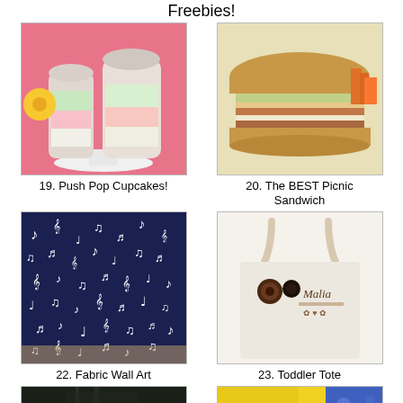Freebies!
[Figure (photo): Push pop cupcakes in plastic containers with colorful layers, pink floral background]
19. Push Pop Cupcakes!
[Figure (photo): A large toasted sandwich with fillings, vegetables in background]
20. The BEST Picnic Sandwich
[Figure (photo): Navy blue fabric with white music notes and treble clef pattern, stretched over canvas as wall art]
22. Fabric Wall Art
[Figure (photo): White tote bag with name embroidered and decorative buttons]
23. Toddler Tote
[Figure (photo): Dark outdoor scene, partially visible]
[Figure (photo): Colorful scrapbook or card with text 'Curre...' visible, yellow and blue]